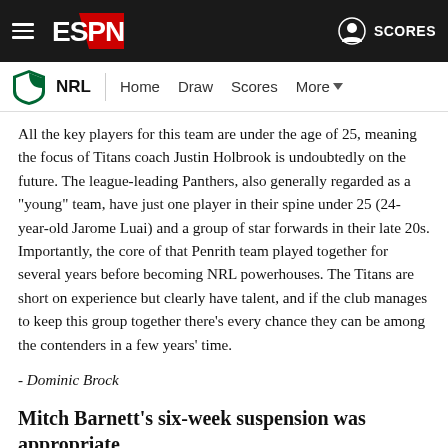ESPN — NRL | Home | Draw | Scores | More
All the key players for this team are under the age of 25, meaning the focus of Titans coach Justin Holbrook is undoubtedly on the future. The league-leading Panthers, also generally regarded as a "young" team, have just one player in their spine under 25 (24-year-old Jarome Luai) and a group of star forwards in their late 20s. Importantly, the core of that Penrith team played together for several years before becoming NRL powerhouses. The Titans are short on experience but clearly have talent, and if the club manages to keep this group together there's every chance they can be among the contenders in a few years' time.
- Dominic Brock
Mitch Barnett's six-week suspension was appropriate